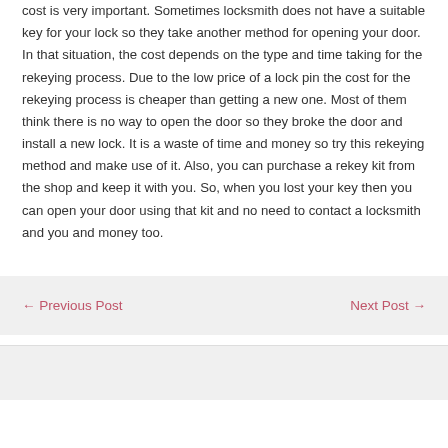cost is very important. Sometimes locksmith does not have a suitable key for your lock so they take another method for opening your door. In that situation, the cost depends on the type and time taking for the rekeying process. Due to the low price of a lock pin the cost for the rekeying process is cheaper than getting a new one. Most of them think there is no way to open the door so they broke the door and install a new lock. It is a waste of time and money so try this rekeying method and make use of it. Also, you can purchase a rekey kit from the shop and keep it with you. So, when you lost your key then you can open your door using that kit and no need to contact a locksmith and you and money too.
← Previous Post    Next Post →